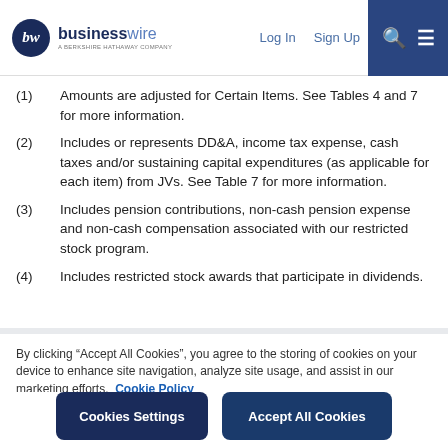businesswire — A BERKSHIRE HATHAWAY COMPANY | Log In | Sign Up
(1) Amounts are adjusted for Certain Items. See Tables 4 and 7 for more information.
(2) Includes or represents DD&A, income tax expense, cash taxes and/or sustaining capital expenditures (as applicable for each item) from JVs. See Table 7 for more information.
(3) Includes pension contributions, non-cash pension expense and non-cash compensation associated with our restricted stock program.
(4) Includes restricted stock awards that participate in dividends.
By clicking “Accept All Cookies”, you agree to the storing of cookies on your device to enhance site navigation, analyze site usage, and assist in our marketing efforts.  Cookie Policy
Cookies Settings | Accept All Cookies